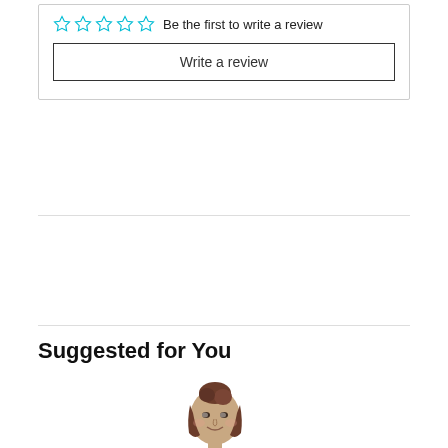☆☆☆☆☆  Be the first to write a review
Write a review
Suggested for You
[Figure (photo): Woman wearing a tie-dye maternity top, smiling, with hair in a bun, hands on belly]